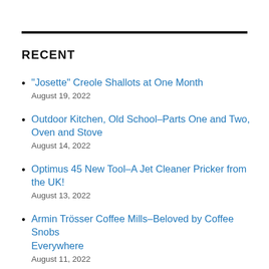RECENT
“Josette” Creole Shallots at One Month
August 19, 2022
Outdoor Kitchen, Old School–Parts One and Two, Oven and Stove
August 14, 2022
Optimus 45 New Tool–A Jet Cleaner Pricker from the UK!
August 13, 2022
Armin Trösser Coffee Mills–Beloved by Coffee Snobs Everywhere
August 11, 2022
Creole Shallot “Josette,” aka Spring Onion, White…